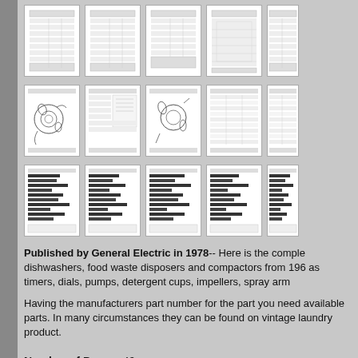[Figure (screenshot): Grid of thumbnail images showing technical diagrams and parts tables from a General Electric dishwasher service manual. Three rows of five thumbnails each, showing parts lists, exploded diagrams, and reference tables.]
Published by General Electric in 1978-- Here is the complete dishwashers, food waste disposers and compactors from 196 as timers, dials, pumps, detergent cups, impellers, spray arm
Having the manufacturers part number for the part you need available parts. In many circumstances they can be found on vintage laundry product.
Number of Pages: 49
File Size: 25mb
Download Fee: $12.99